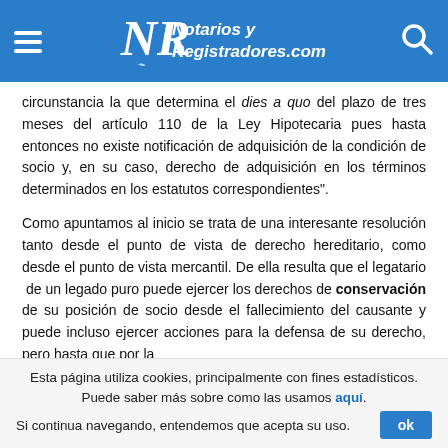Notarios y Registradores.com
circunstancia la que determina el dies a quo del plazo de tres meses del artículo 110 de la Ley Hipotecaria pues hasta entonces no existe notificación de adquisición de la condición de socio y, en su caso, derecho de adquisición en los términos determinados en los estatutos correspondientes".
Como apuntamos al inicio se trata de una interesante resolución tanto desde el punto de vista de derecho hereditario, como desde el punto de vista mercantil. De ella resulta que el legatario de un legado puro puede ejercer los derechos de conservación de su posición de socio desde el fallecimiento del causante y puede incluso ejercer acciones para la defensa de su derecho, pero hasta que por la
Esta página utiliza cookies, principalmente con fines estadísticos. Puede saber más sobre como las usamos aquí. Si continua navegando, entendemos que acepta su uso.  ok